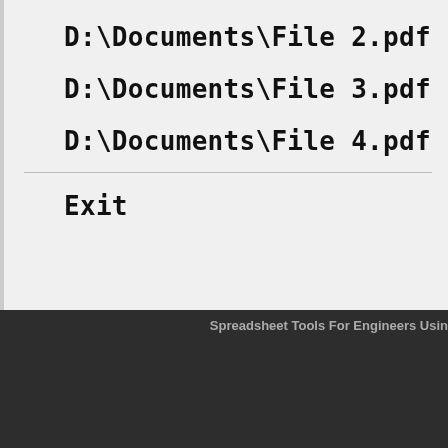D:\Documents\File 2.pdf
D:\Documents\File 3.pdf
D:\Documents\File 4.pdf
Exit
Spreadsheet Tools For Engineers Usin